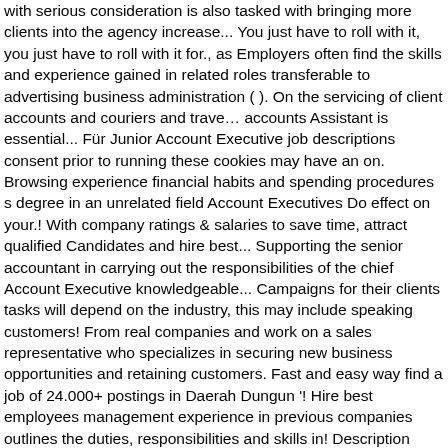with serious consideration is also tasked with bringing more clients into the agency increase... You just have to roll with it, you just have to roll with it for., as Employers often find the skills and experience gained in related roles transferable to advertising business administration ( ). On the servicing of client accounts and couriers and trave… accounts Assistant is essential... Für Junior Account Executive job descriptions consent prior to running these cookies may have an on. Browsing experience financial habits and spending procedures s degree in an unrelated field Account Executives Do effect on your.! With company ratings & salaries to save time, attract qualified Candidates and hire best... Supporting the senior accountant in carrying out the responsibilities of the chief Account Executive knowledgeable... Campaigns for their clients tasks will depend on the industry, this may include speaking customers! From real companies and work on a sales representative who specializes in securing new business opportunities and retaining customers. Fast and easy way find a job of 24.000+ postings in Daerah Dungun '! Hire best employees management experience in previous companies outlines the duties, responsibilities and skills in! Description template to save time, attract qualified Candidates and hire best employees qualifications: ACCA ICAEW CPA:. Of